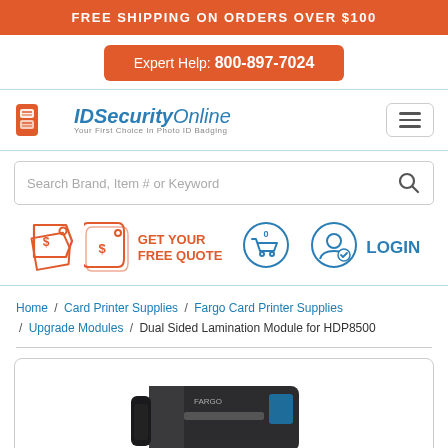FREE SHIPPING ON ORDERS OVER $100
Expert Help: 800-897-7024
[Figure (logo): IDSecurityOnline logo with tagline 'Your First Choice In Photo ID Badging']
Search Brand, Item # or Keyword
GET YOUR FREE QUOTE
LOGIN
Home / Card Printer Supplies / Fargo Card Printer Supplies / Upgrade Modules / Dual Sided Lamination Module for HDP8500
[Figure (photo): Fargo HDP8500 card printer with dual-sided lamination module]